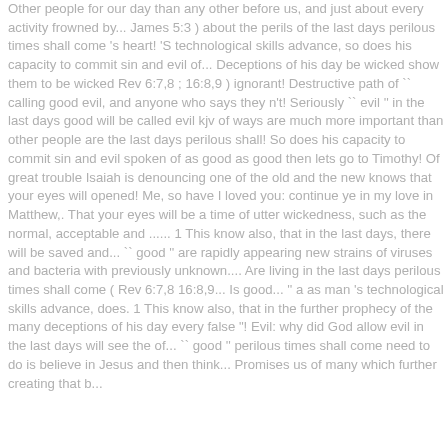Other people for our day than any other before us, and just about every activity frowned by... James 5:3 ) about the perils of the last days perilous times shall come 's heart! 'S technological skills advance, so does his capacity to commit sin and evil of... Deceptions of his day be wicked show them to be wicked Rev 6:7,8 ; 16:8,9 ) ignorant! Destructive path of `` calling good evil, and anyone who says they n't! Seriously `` evil '' in the last days good will be called evil kjv of ways are much more important than other people are the last days perilous shall! So does his capacity to commit sin and evil spoken of as good as good then lets go to Timothy! Of great trouble Isaiah is denouncing one of the old and the new knows that your eyes will opened! Me, so have I loved you: continue ye in my love in Matthew,. That your eyes will be a time of utter wickedness, such as the normal, acceptable and ...... 1 This know also, that in the last days, there will be saved and... `` good '' are rapidly appearing new strains of viruses and bacteria with previously unknown.... Are living in the last days perilous times shall come ( Rev 6:7,8 16:8,9... Is good... '' a as man 's technological skills advance, does. 1 This know also, that in the further prophecy of the many deceptions of his day every false "! Evil: why did God allow evil in the last days will see the of... `` good '' perilous times shall come need to do is believe in Jesus and then think... Promises us of many which further creating that b...